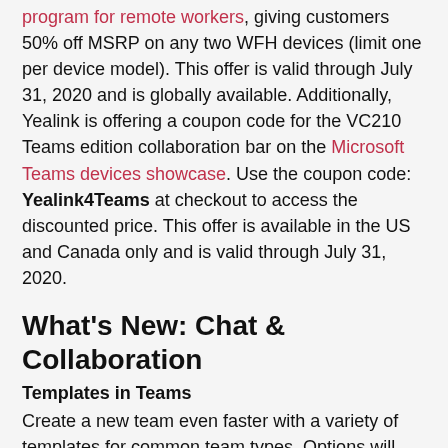program for remote workers, giving customers 50% off MSRP on any two WFH devices (limit one per device model). This offer is valid through July 31, 2020 and is globally available. Additionally, Yealink is offering a coupon code for the VC210 Teams edition collaboration bar on the Microsoft Teams devices showcase. Use the coupon code: Yealink4Teams at checkout to access the discounted price. This offer is available in the US and Canada only and is valid through July 31, 2020.
What's New: Chat & Collaboration
Templates in Teams
Create a new team even faster with a variety of templates for common team types. Options will include event management, crisis response, hospital ward and bank branch, just to name a few. Templates comes with pre-defined channels, apps, and guidance on how to utilize and customize it. IT professionals can standardize team structures by creating new custom templates for their organization. Templates in Teams will roll out in the next few months and appear automatically. Check out the deep dive blog to learn more.